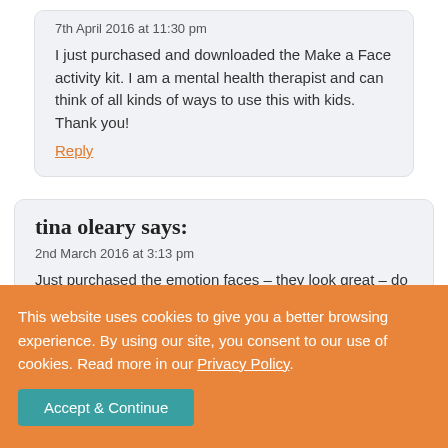7th April 2016 at 11:30 pm
I just purchased and downloaded the Make a Face activity kit. I am a mental health therapist and can think of all kinds of ways to use this with kids. Thank you!
Reply
tina oleary says:
2nd March 2016 at 3:13 pm
Just purchased the emotion faces – they look great – do I wait for an e-mail to download them? thanks 🙂
Reply
This website uses cookies to give you a better browsing experience. By using our site, you consent to our use of cookies. Read more in our Privacy Policy.
Accept & Continue